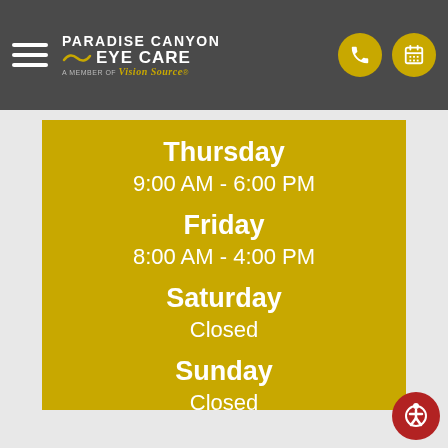Paradise Canyon Eye Care – A Member of Vision Source
Thursday
9:00 AM - 6:00 PM
Friday
8:00 AM - 4:00 PM
Saturday
Closed
Sunday
Closed